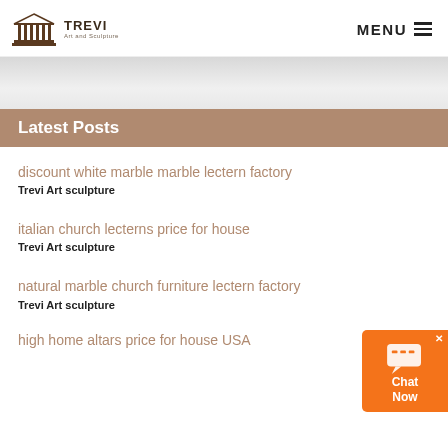TREVI Art and Sculpture — MENU
Latest Posts
discount white marble marble lectern factory
Trevi Art sculpture
italian church lecterns price for house
Trevi Art sculpture
natural marble church furniture lectern factory
Trevi Art sculpture
high home altars price for house USA